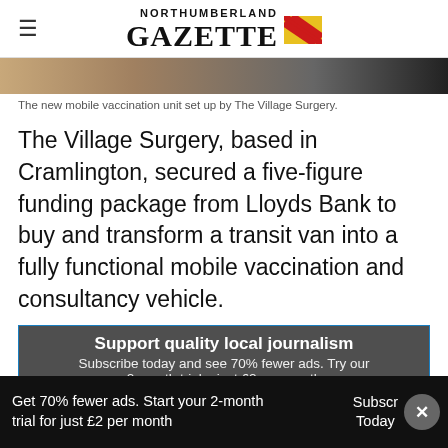NORTHUMBERLAND GAZETTE
[Figure (photo): Top strip of a photo showing the new mobile vaccination unit set up by The Village Surgery — mostly showing the upper portion of a vehicle exterior in muted tones.]
The new mobile vaccination unit set up by The Village Surgery.
The Village Surgery, based in Cramlington, secured a five-figure funding package from Lloyds Bank to buy and transform a transit van into a fully functional mobile vaccination and consultancy vehicle.
Support quality local journalism
Subscribe today and see 70% fewer ads. Try our 2-month trial – just £2 per month
Get 70% fewer ads. Start your 2-month trial for just £2 per month